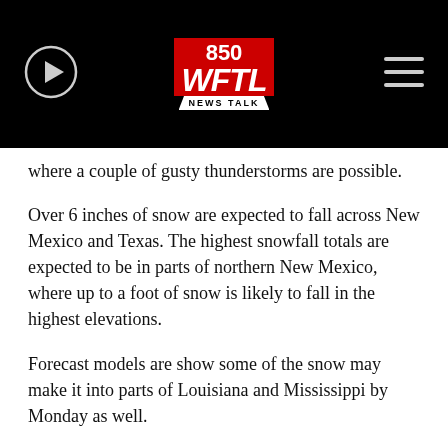[Figure (logo): 850 WFTL News Talk radio station logo in red and white, centered in black header bar with play button on left and hamburger menu on right]
where a couple of gusty thunderstorms are possible.
Over 6 inches of snow are expected to fall across New Mexico and Texas. The highest snowfall totals are expected to be in parts of northern New Mexico, where up to a foot of snow is likely to fall in the highest elevations.
Forecast models are show some of the snow may make it into parts of Louisiana and Mississippi by Monday as well.
Meanwhile, in the Northeast, a brief winter chill is settling in Saturday morning. Wind chills will be in the teens and single digits across much of the region. Wind gusts could exceed 20 mph — especially along the immediate coast line.